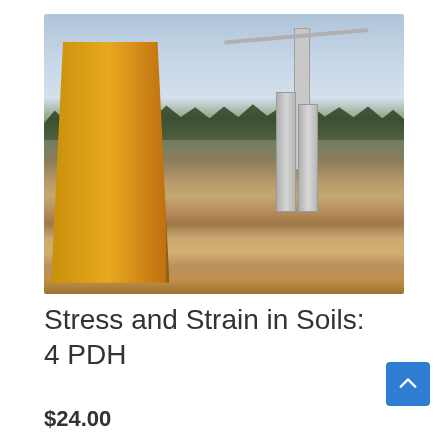[Figure (photo): Construction site with a yellow drilling rig on the left, two large concrete pillars in the center, a tower crane in the background right, and conifer forest on the hillside. Overcast sky with blue tones. Excavated earth and heavy machinery visible in the foreground.]
Stress and Strain in Soils: 4 PDH
$24.00